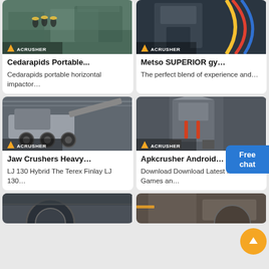[Figure (photo): Industrial crusher machine with workers in factory, Acrusher branded]
Cedarapids Portable...
Cedarapids portable horizontal impactor…
[Figure (photo): Metso superior gyratory crusher machine, Acrusher branded]
Metso SUPERIOR gy…
The perfect blend of experience and…
[Figure (photo): Jaw crusher on wheels in factory, Acrusher branded]
Jaw Crushers Heavy…
LJ 130 Hybrid The Terex Finlay LJ 130…
[Figure (photo): Vertical shaft impact crusher machine, Acrusher branded]
Apkcrusher Android…
Download Download Latest Mod Games an…
[Figure (photo): Partially visible crusher machine at bottom left]
[Figure (photo): Partially visible crusher machine at bottom right]